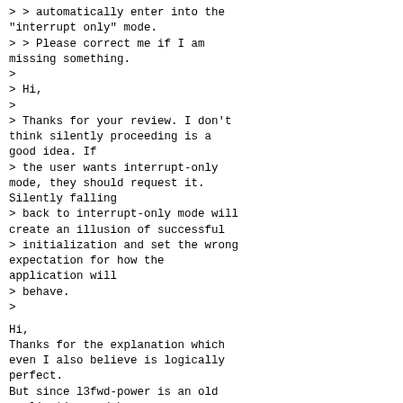> > automatically enter into the "interrupt only" mode.
> > Please correct me if I am missing something.
>
> Hi,
>
> Thanks for your review. I don't think silently proceeding is a good idea. If
> the user wants interrupt-only mode, they should request it. Silently falling
> back to interrupt-only mode will create an illusion of successful
> initialization and set the wrong expectation for how the application will
> behave.
>
Hi,
Thanks for the explanation which even I also believe is logically perfect.
But since l3fwd-power is an old application and has many users around